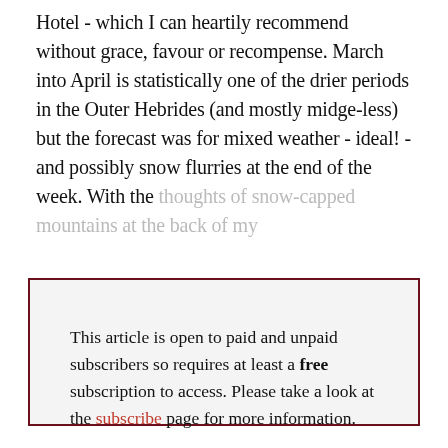Hotel - which I can heartily recommend without grace, favour or recompense. March into April is statistically one of the drier periods in the Outer Hebrides (and mostly midge-less) but the forecast was for mixed weather - ideal! - and possibly snow flurries at the end of the week. With the thoughts of snow-capped mountains at the back of my
This article is open to paid and unpaid subscribers so requires at least a free subscription to access. Please take a look at the subscribe page for more information.